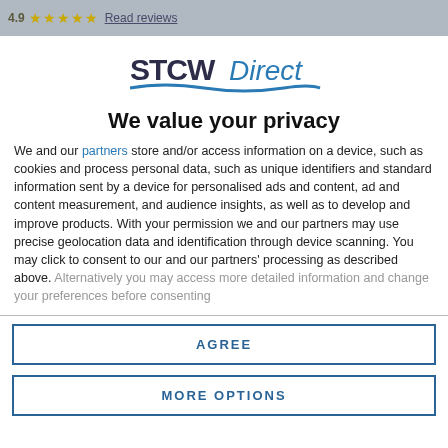4.9 ★★★★★ Read reviews
[Figure (logo): STCW Direct logo with blue wave underline graphic]
We value your privacy
We and our partners store and/or access information on a device, such as cookies and process personal data, such as unique identifiers and standard information sent by a device for personalised ads and content, ad and content measurement, and audience insights, as well as to develop and improve products. With your permission we and our partners may use precise geolocation data and identification through device scanning. You may click to consent to our and our partners' processing as described above. Alternatively you may access more detailed information and change your preferences before consenting
AGREE
MORE OPTIONS